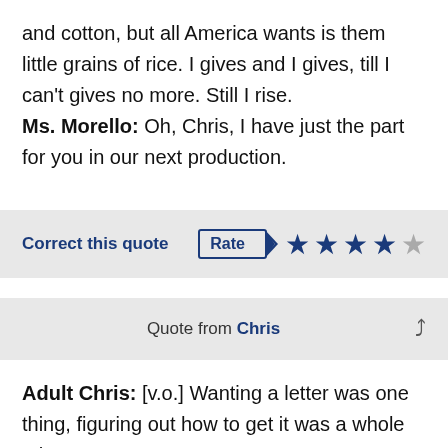and cotton, but all America wants is them little grains of rice. I gives and I gives, till I can't gives no more. Still I rise. Ms. Morello: Oh, Chris, I have just the part for you in our next production.
Correct this quote | Rate ★★★★☆
Quote from Chris
Adult Chris: [v.o.] Wanting a letter was one thing, figuring out how to get it was a whole other story. Chris: How am I supposed to get a letter in a